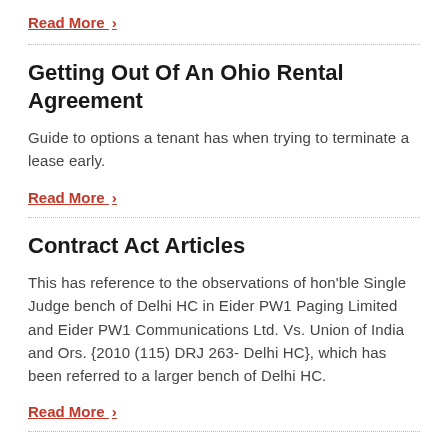Read More ›
Getting Out Of An Ohio Rental Agreement
Guide to options a tenant has when trying to terminate a lease early.
Read More ›
Contract Act Articles
This has reference to the observations of hon'ble Single Judge bench of Delhi HC in Eider PW1 Paging Limited and Eider PW1 Communications Ltd. Vs. Union of India and Ors. {2010 (115) DRJ 263- Delhi HC}, which has been referred to a larger bench of Delhi HC.
Read More ›